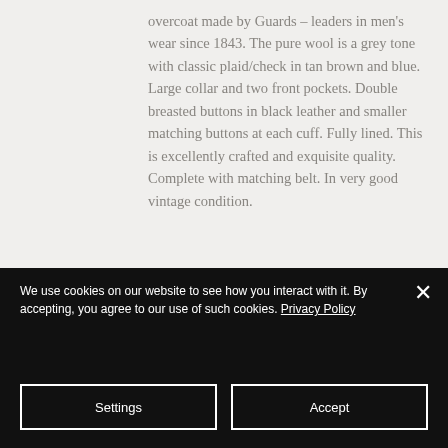overcoat made by Guards - leaders in men's wear since 1843. The pure wool is a grey tone with classic plaid/check in tan brown and blue. Large collar and two front pockets. Double breasted buttons in black leather and smaller matching buttons at each cuff. Fully lined. This is excellently crafted and exquisite quality. Complete with matching belt. In very good vintage condition.
[Figure (photo): A wood grain texture surface, partially visible at bottom of page.]
We use cookies on our website to see how you interact with it. By accepting, you agree to our use of such cookies. Privacy Policy
Settings
Accept